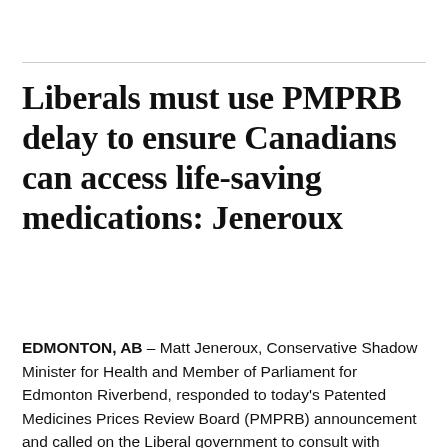Liberals must use PMPRB delay to ensure Canadians can access life-saving medications: Jeneroux
EDMONTON, AB – Matt Jeneroux, Conservative Shadow Minister for Health and Member of Parliament for Edmonton Riverbend, responded to today's Patented Medicines Prices Review Board (PMPRB) announcement and called on the Liberal government to consult with patients to ensure all Canadians can access life-saving medications.